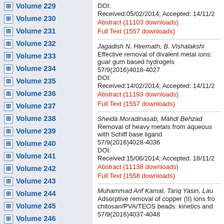Volume 229
Volume 230
Volume 231
Volume 232
Volume 233
Volume 234
Volume 235
Volume 236
Volume 237
Volume 238
Volume 239
Volume 240
Volume 241
Volume 242
Volume 243
Volume 244
Volume 245
Volume 246
Volume 247
Volume 248
Volume 249
Volume 250
Volume 251
Volume 252
Volume 253
DOI:
Received:05/02/2014; Accepted: 14/11/2
Abstract (11103 downloads)
Full Text (1557 downloads)
Jagadish N. Hiremath, B. Vishalakshi
Effective removal of divalent metal ions: guar gum based hydrogels
57/9(2016)4018-4027
DOI:
Received:14/02/2014; Accepted: 14/11/2
Abstract (11193 downloads)
Full Text (1557 downloads)
Sheida Moradinasab, Mahdi Behzad
Removal of heavy metals from aqueous with Schiff base ligand
57/9(2016)4028-4036
DOI:
Received:15/06/2014; Accepted: 18/11/2
Abstract (11138 downloads)
Full Text (1558 downloads)
Muhammad Arif Kamal, Tariq Yasin, Lau
Adsorptive removal of copper (II) ions fr
chitosan/PVA/TEOS beads: kinetics and
57/9(2016)4037-4048